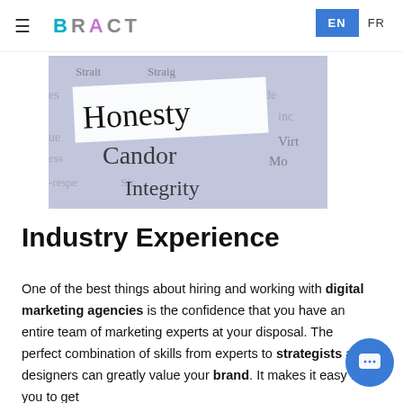BRACT | EN FR
[Figure (photo): Word collage photo showing typography words: Honesty, Candor, Integrity, Virtue, and others on paper strips with a blue-tinted background]
Industry Experience
One of the best things about hiring and working with digital marketing agencies is the confidence that you have an entire team of marketing experts at your disposal. The perfect combination of skills from experts to strategists and designers can greatly value your brand. It makes it easy for you to get